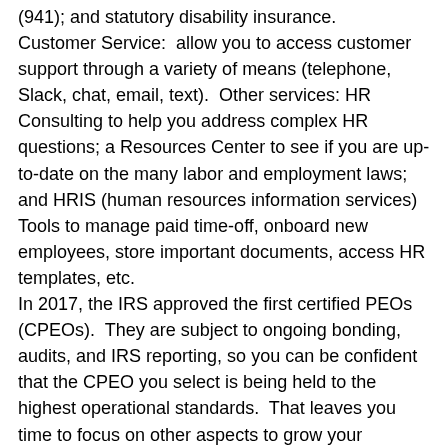(941); and statutory disability insurance. Customer Service:  allow you to access customer support through a variety of means (telephone, Slack, chat, email, text).  Other services: HR Consulting to help you address complex HR questions; a Resources Center to see if you are up-to-date on the many labor and employment laws; and HRIS (human resources information services) Tools to manage paid time-off, onboard new employees, store important documents, access HR templates, etc. In 2017, the IRS approved the first certified PEOs (CPEOs).  They are subject to ongoing bonding, audits, and IRS reporting, so you can be confident that the CPEO you select is being held to the highest operational standards.  That leaves you time to focus on other aspects to grow your business. While adding to employee administration overhead, a PEO solution can be a path to greater success.